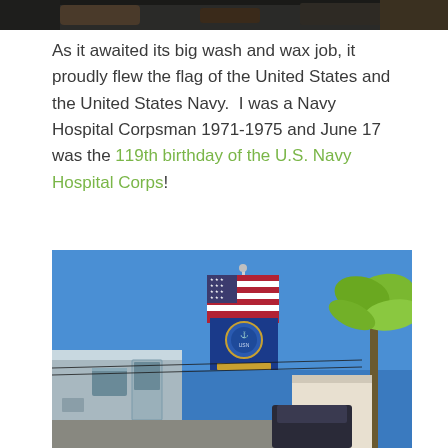[Figure (photo): Partial top photo showing what appears to be a vehicle or object, cropped at the top of the page.]
As it awaited its big wash and wax job, it proudly flew the flag of the United States and the United States Navy.  I was a Navy Hospital Corpsman 1971-1975 and June 17 was the 119th birthday of the U.S. Navy Hospital Corps!
[Figure (photo): Photo of an Airstream trailer parked outside with an American flag and a U.S. Navy Hospital Corps flag flying from a pole attached to the trailer, against a bright blue sky with a palm tree visible on the right.]